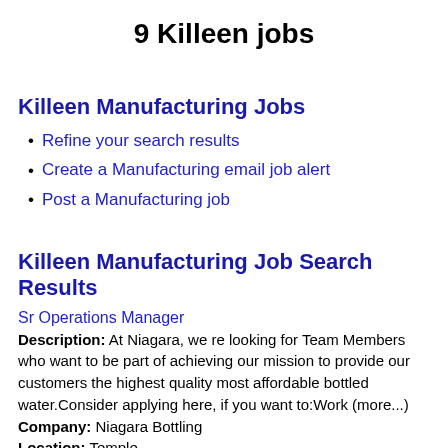9 Killeen jobs
Killeen Manufacturing Jobs
Refine your search results
Create a Manufacturing email job alert
Post a Manufacturing job
Killeen Manufacturing Job Search Results
Sr Operations Manager
Description: At Niagara, we re looking for Team Members who want to be part of achieving our mission to provide our customers the highest quality most affordable bottled water.Consider applying here, if you want to:Work (more...)
Company: Niagara Bottling
Location: Temple